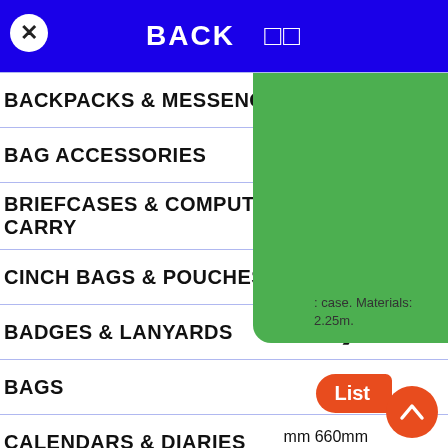BACK
BACKPACKS & MESSENGER BAGS
BAG ACCESSORIES
BRIEFCASES & COMPUTER CARRY
CINCH BAGS & POUCHES
BADGES & LANYARDS
BAGS
CALENDARS & DIARIES
CAPS & HATS
case. Materials: 2.25m.
List
mm 660mm